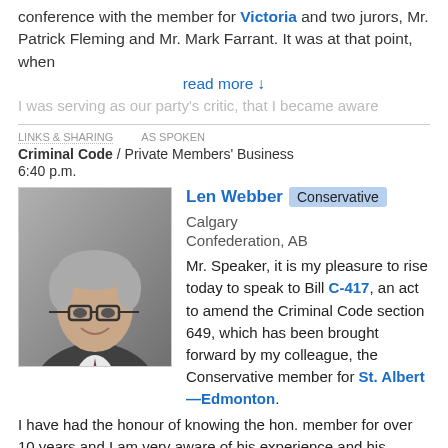conference with the member for Victoria and two jurors, Mr. Patrick Fleming and Mr. Mark Farrant. It was at that point, when
read more ↓
I was serving as our party's critic, that I became aware
LINKS & SHARING   AS SPOKEN
Criminal Code / Private Members' Business
6:40 p.m.
Len Webber  Conservative  Calgary Confederation, AB
Mr. Speaker, it is my pleasure to rise today to speak to Bill C-417, an act to amend the Criminal Code section 649, which has been brought forward by my colleague, the Conservative member for St. Albert—Edmonton. I have had the honour of knowing the hon. member for over 10 years and I am very aware of his experience and his encyclopaedic knowledge of statutory law. Any bill brought forward by him amending the Criminal Code clearly says to me that this is a required change and that I can be confident in supporting it.